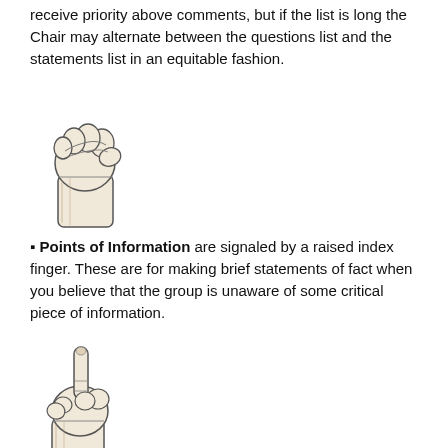receive priority above comments, but if the list is long the Chair may alternate between the questions list and the statements list in an equitable fashion.
[Figure (illustration): Hand making a fist gesture (raised fist with thumb on top), drawn in black and white sketch style.]
▪ Points of Information are signaled by a raised index finger. These are for making brief statements of fact when you believe that the group is unaware of some critical piece of information.
[Figure (illustration): Hand with index finger raised (pointing upward), drawn in black and white sketch style.]
▪ Procedural errors and questions about the facilitation process (e.g. “this needs to be a ⅔ majority” or “first the VPIA speaks, then questions”) are signaled by making a triangle with both thumbs and index fingers.
[Figure (illustration): Two hands forming a triangle shape with thumbs and index fingers, drawn in black and white sketch style.]